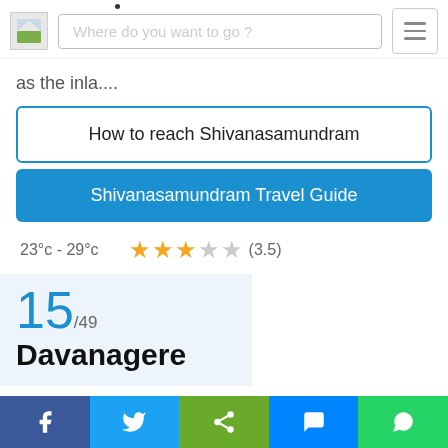Where do you want to go ?
as the inla....
How to reach Shivanasamundram
Shivanasamundram Travel Guide
23°c - 29°c  ★★★☆☆ (3.5)
15/49 Davanagere
Best Time: October-March